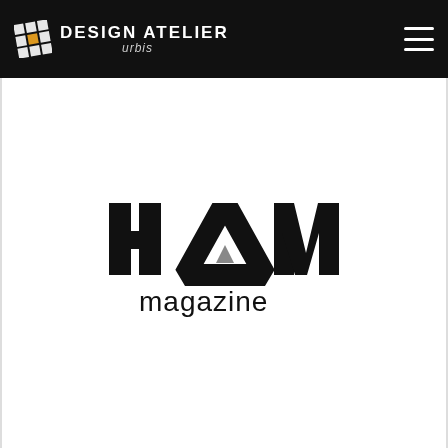DESIGN ATELIER urbis
[Figure (logo): HAW magazine logo — large bold letters H, A (with a triangle accent), W in black, with 'magazine' in lowercase beneath]